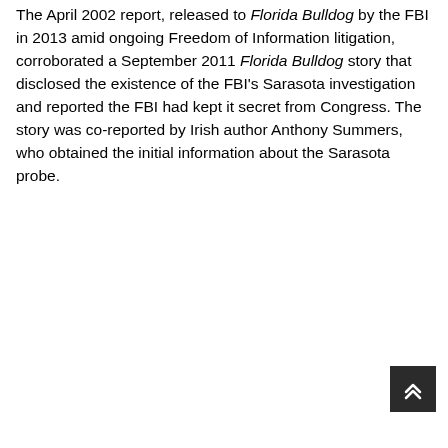The April 2002 report, released to Florida Bulldog by the FBI in 2013 amid ongoing Freedom of Information litigation, corroborated a September 2011 Florida Bulldog story that disclosed the existence of the FBI's Sarasota investigation and reported the FBI had kept it secret from Congress. The story was co-reported by Irish author Anthony Summers, who obtained the initial information about the Sarasota probe.
[Figure (other): Dark scroll-to-top button with double chevron up icon in bottom-right corner]